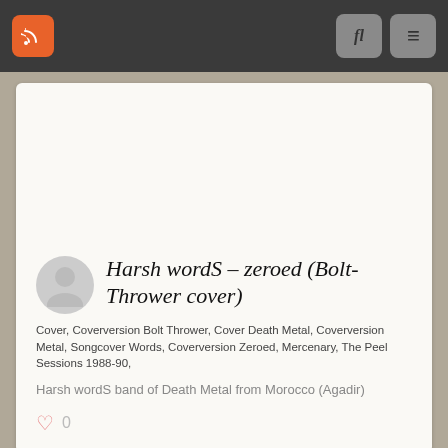Navigation bar with RSS icon, search button, and menu button
Harsh wordS – zeroed (Bolt-Thrower cover)
Cover, Coverversion Bolt Thrower, Cover Death Metal, Coverversion Metal, Songcover Words, Coverversion Zeroed, Mercenary, The Peel Sessions 1988-90,
Harsh wordS band of Death Metal from Morocco (Agadir)
0
[Figure (photo): Partial view of a person playing guitar, photo in second card]